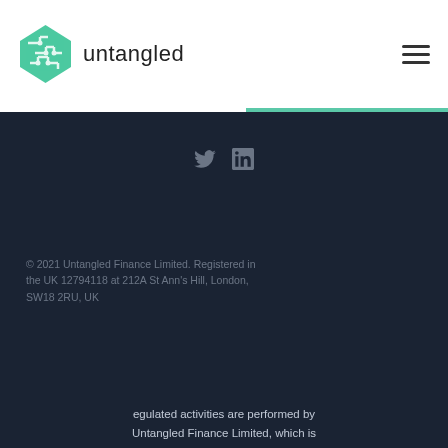[Figure (logo): Untangled Finance logo: green diamond-shaped icon with circuit-like pattern and the text 'untangled' in dark sans-serif]
[Figure (other): Hamburger menu icon (three horizontal lines) in the top-right corner]
[Figure (other): Social media icons: Twitter bird and LinkedIn 'in' symbol, grey colored, centered on dark background]
© 2021 Untangled Finance Limited. Registered in the UK 12794118 at 212A St Ann's Hill, London, SW18 2RU, UK
egulated activities are performed by Untangled Finance Limited, which is